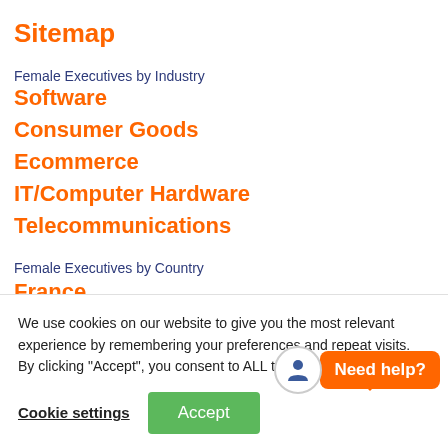Sitemap
Female Executives by Industry
Software
Consumer Goods
Ecommerce
IT/Computer Hardware
Telecommunications
Female Executives by Country
France
We use cookies on our website to give you the most relevant experience by remembering your preferences and repeat visits. By clicking “Accept”, you consent to ALL the cookies.
Cookie settings  Accept